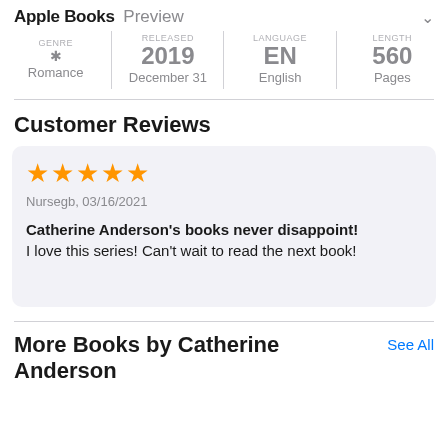Apple Books Preview
| GENRE | RELEASED | LANGUAGE | LENGTH |
| --- | --- | --- | --- |
| Romance | 2019 December 31 | EN English | 560 Pages |
Customer Reviews
★★★★★
Nursegb, 03/16/2021
Catherine Anderson's books never disappoint!
I love this series! Can't wait to read the next book!
More Books by Catherine Anderson
See All